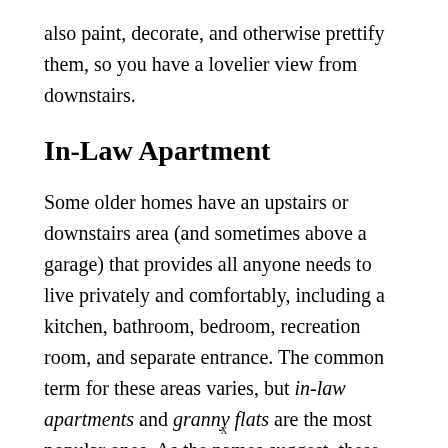also paint, decorate, and otherwise prettify them, so you have a lovelier view from downstairs.
In-Law Apartment
Some older homes have an upstairs or downstairs area (and sometimes above a garage) that provides all anyone needs to live privately and comfortably, including a kitchen, bathroom, bedroom, recreation room, and separate entrance. The common term for these areas varies, but in-law apartments and granny flats are the most popular ones. As the names suggest, these separate living areas are accommodations for relatives, usually aging ones. However, they nowadays serve as extra rentable space or
x